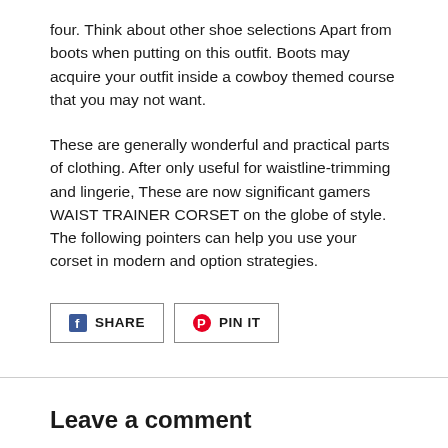four. Think about other shoe selections Apart from boots when putting on this outfit. Boots may acquire your outfit inside a cowboy themed course that you may not want.
These are generally wonderful and practical parts of clothing. After only useful for waistline-trimming and lingerie, These are now significant gamers WAIST TRAINER CORSET on the globe of style. The following pointers can help you use your corset in modern and option strategies.
[Figure (other): Social share buttons: Facebook SHARE and Pinterest PIN IT]
Leave a comment
Name